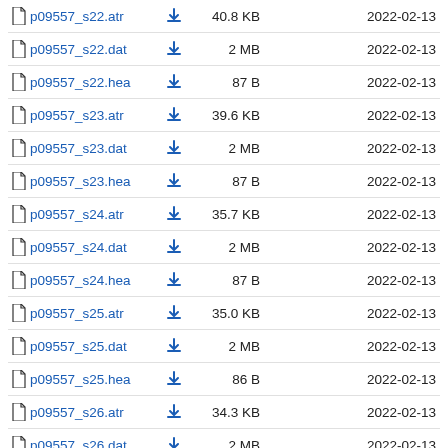p09557_s22.atr  40.8 KB  2022-02-13
p09557_s22.dat  2 MB  2022-02-13
p09557_s22.hea  87 B  2022-02-13
p09557_s23.atr  39.6 KB  2022-02-13
p09557_s23.dat  2 MB  2022-02-13
p09557_s23.hea  87 B  2022-02-13
p09557_s24.atr  35.7 KB  2022-02-13
p09557_s24.dat  2 MB  2022-02-13
p09557_s24.hea  87 B  2022-02-13
p09557_s25.atr  35.0 KB  2022-02-13
p09557_s25.dat  2 MB  2022-02-13
p09557_s25.hea  86 B  2022-02-13
p09557_s26.atr  34.3 KB  2022-02-13
p09557_s26.dat  2 MB  2022-02-13